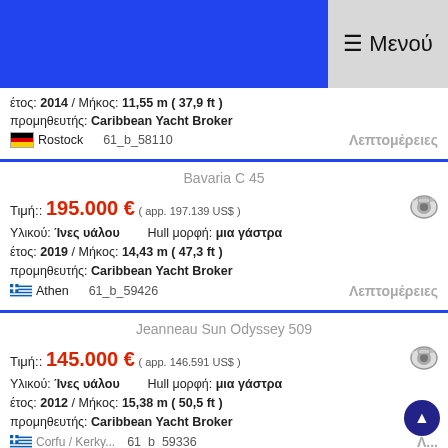≡ Μενού
έτος: 2014 / Μήκος: 11,55 m ( 37,9 ft )
προμηθευτής: Caribbean Yacht Broker
Rostock   61_b_58110   Λεπτομέρειες
Bavaria C 45
Τιμή:: 195.000 € ( app. 197.139 US$ )
Υλικού: Ίνες υάλου   Hull μορφή: μια γάστρα
έτος: 2019 / Μήκος: 14,43 m ( 47,3 ft )
προμηθευτής: Caribbean Yacht Broker
Athen   61_b_59426   Λεπτομέρειες
Jeanneau Sun Odyssey 509
Τιμή:: 145.000 € ( app. 146.591 US$ )
Υλικού: Ίνες υάλου   Hull μορφή: μια γάστρα
έτος: 2012 / Μήκος: 15,38 m ( 50,5 ft )
προμηθευτής: Caribbean Yacht Broker
61_b_59336   Λ...